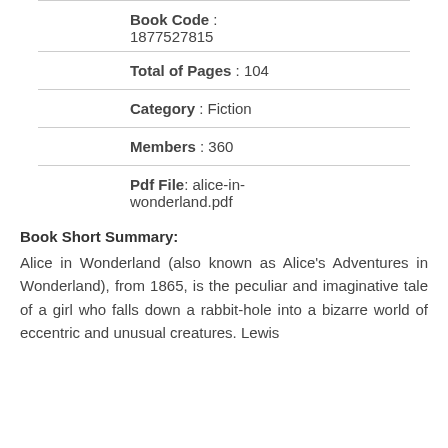Book Code : 1877527815
Total of Pages : 104
Category : Fiction
Members : 360
Pdf File: alice-in-wonderland.pdf
Book Short Summary:
Alice in Wonderland (also known as Alice's Adventures in Wonderland), from 1865, is the peculiar and imaginative tale of a girl who falls down a rabbit-hole into a bizarre world of eccentric and unusual creatures. Lewis